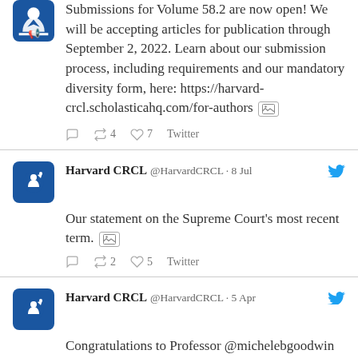Submissions for Volume 58.2 are now open! We will be accepting articles for publication through September 2, 2022. Learn about our submission process, including requirements and our mandatory diversity form, here: https://harvard-crcl.scholasticahq.com/for-authors
4 retweets, 7 likes, Twitter
Harvard CRCL @HarvardCRCL · 8 Jul
Our statement on the Supreme Court's most recent term.
2 retweets, 5 likes, Twitter
Harvard CRCL @HarvardCRCL · 5 Apr
Congratulations to Professor @michelebgoodwin—author of CR-CL